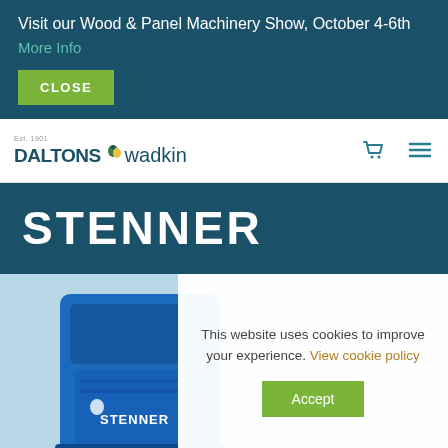Visit our Wood & Panel Machinery Show, October 4-6th
More Info
CLOSE
[Figure (logo): Daltons Wadkin logo with stylized bird icon and 'est. 1901' text]
[Figure (other): Shopping cart icon and hamburger menu icon in teal]
STENNER
[Figure (photo): Blue Stenner woodworking machine on light blue background]
This website uses cookies to improve your experience. View cookie policy
Accept